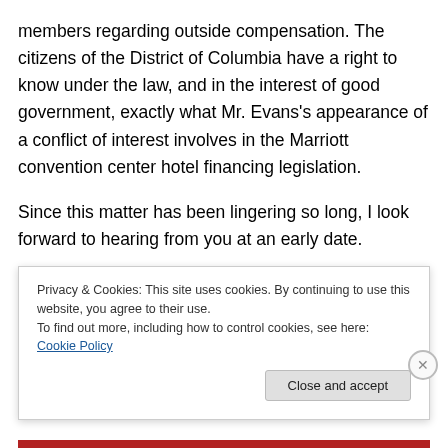members regarding outside compensation. The citizens of the District of Columbia have a right to know under the law, and in the interest of good government, exactly what Mr. Evans's appearance of a conflict of interest involves in the Marriott convention center hotel financing legislation.
Since this matter has been lingering so long, I look forward to hearing from you at an early date.
Regards,
John Hanrahan
Privacy & Cookies: This site uses cookies. By continuing to use this website, you agree to their use.
To find out more, including how to control cookies, see here: Cookie Policy